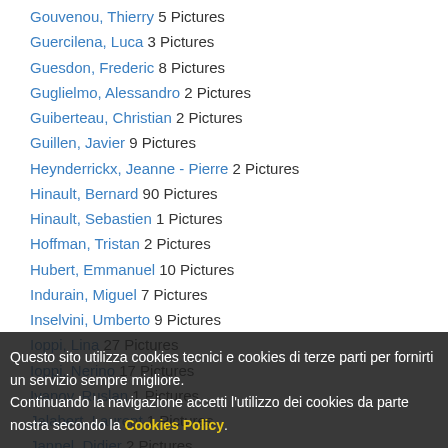Gouvenou, Thierry 5 Pictures
Guercilena, Luca 3 Pictures
Guesdon, Frederic 8 Pictures
Guglielmo, Alessandro 2 Pictures
Guiberteau, Christian 2 Pictures
Guillen, Javier 9 Pictures
Heynderrickx, Jeanne - Pierre 2 Pictures
Hinault, Bernard 90 Pictures
Hinault, Sebastien 1 Pictures
Hoffman, Tristan 2 Pictures
Hubert, Emmanuel 10 Pictures
Indurain, Miguel 7 Pictures
Inselvini, Umberto 9 Pictures
Ioppi, Lina 27 Pictures
Ioppi, Nerino 17 Pictures
Ivanov, Ruslan 1 Pictures
Jalabert, Laurent 1 Pictures
Jannel, Didier 2 Pictures
Jonrond, Jean L...
Jurd...
Knaven, Se...
Questo sito utilizza cookies tecnici e cookies di terze parti per fornirti un servizio sempre migliore. Continuando la navigazione accetti l'utilizzo dei cookies da parte nostra secondo la Cookies Policy.